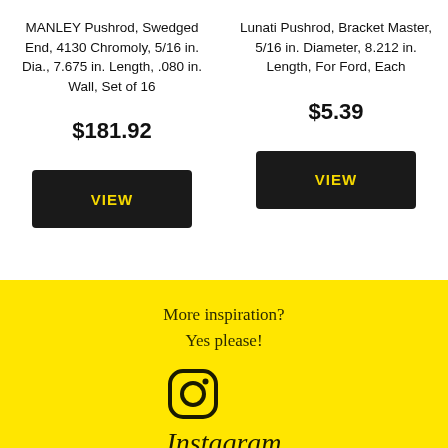MANLEY Pushrod, Swedged End, 4130 Chromoly, 5/16 in. Dia., 7.675 in. Length, .080 in. Wall, Set of 16
$181.92
VIEW
Lunati Pushrod, Bracket Master, 5/16 in. Diameter, 8.212 in. Length, For Ford, Each
$5.39
VIEW
More inspiration?
Yes please!
[Figure (logo): Instagram logo icon (camera outline) and Instagram wordmark in italic script on yellow background]